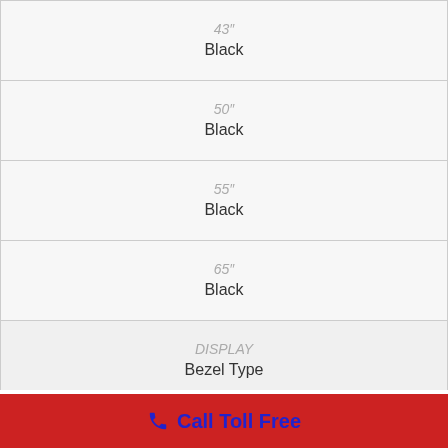| 43″ | Black |
| 50″ | Black |
| 55″ | Black |
| 65″ | Black |
| DISPLAY | Bezel Type |
| 43″ | 3 Bezel-less |
📞 Call Toll Free